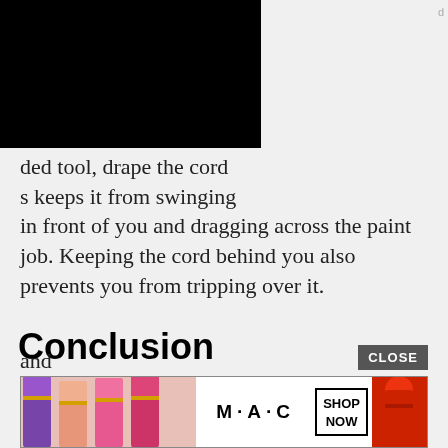[Figure (screenshot): Ulta Beauty advertisement banner with logo and model face, 'SHOP NOW' button]
ded tool, drape the cord s keeps it from swinging in front of you and dragging across the paint job. Keeping the cord behind you also prevents you from tripping over it.
Conclusion
If you're getting old like myself and tired of hand polishing your ride, then a portable DA polisher may be just what you need! I hope this guide has been enough to help you make the right decision. If you've got any questions, go d
and
[Figure (screenshot): M·A·C cosmetics advertisement with lipsticks and 'SHOP NOW' button]